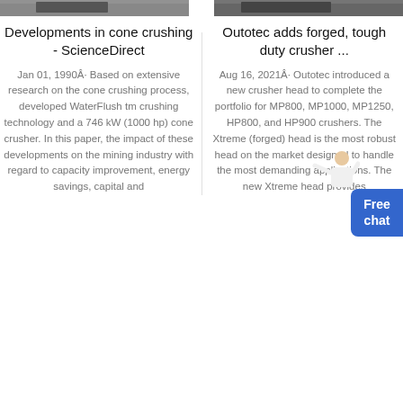[Figure (photo): Two side-by-side photo thumbnails of industrial crushing equipment at the top of the page]
Developments in cone crushing - ScienceDirect
Jan 01, 1990Â· Based on extensive research on the cone crushing process, developed WaterFlush tm crushing technology and a 746 kW (1000 hp) cone crusher. In this paper, the impact of these developments on the mining industry with regard to capacity improvement, energy savings, capital and
Outotec adds forged, tough duty crusher ...
Aug 16, 2021Â· Outotec introduced a new crusher head to complete the portfolio for MP800, MP1000, MP1250, HP800, and HP900 crushers. The Xtreme (forged) head is the most robust head on the market designed to handle the most demanding applications. The new Xtreme head provides
[Figure (illustration): Free chat button with a person illustration, blue rounded rectangle button labeled 'Free chat']